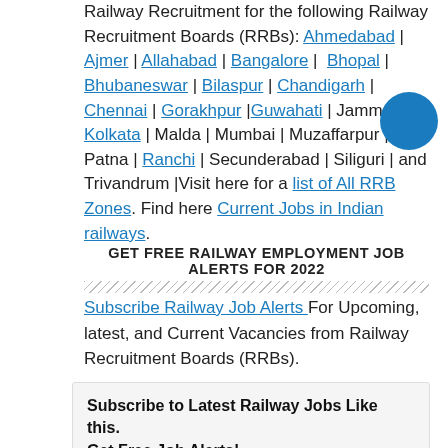Railway Recruitment for the following Railway Recruitment Boards (RRBs): Ahmedabad | Ajmer | Allahabad | Bangalore | Bhopal | Bhubaneswar | Bilaspur | Chandigarh | Chennai | Gorakhpur |Guwahati | Jammu | Kolkata | Malda | Mumbai | Muzaffarpur | Patna | Ranchi | Secunderabad | Siliguri | and Trivandrum |Visit here for a list of All RRB Zones. Find here Current Jobs in Indian railways.
[Figure (illustration): Blue circular button/icon in top right area]
GET FREE RAILWAY EMPLOYMENT JOB ALERTS FOR 2022
Subscribe Railway Job Alerts For Upcoming, latest, and Current Vacancies from Railway Recruitment Boards (RRBs).
Subscribe to Latest Railway Jobs Like this. Get Free Job Alerts!